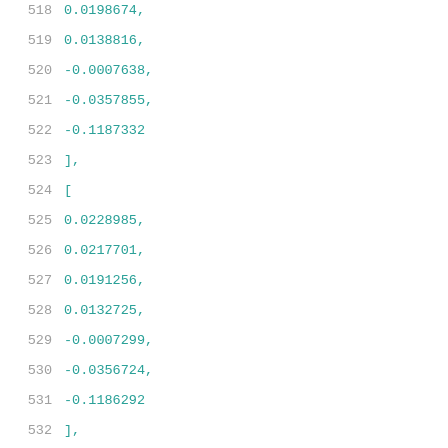518    0.0198674,
519    0.0138816,
520    -0.0007638,
521    -0.0357855,
522    -0.1187332
523  ],
524  [
525    0.0228985,
526    0.0217701,
527    0.0191256,
528    0.0132725,
529    -0.0007299,
530    -0.0356724,
531    -0.1186292
532  ],
533  [
534    0.0237691,
535    0.0226996,
536    0.0199999,
537    0.0137905,
538    -0.0009773,
539    -0.0356578,